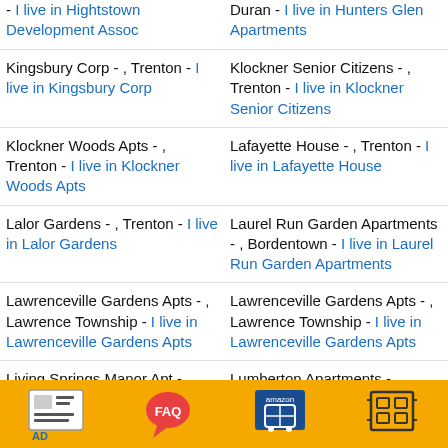Hightstown - I live in Hightstown Development Assoc | Duran - I live in Hunters Glen Apartments
Kingsbury Corp - , Trenton - I live in Kingsbury Corp
Klockner Senior Citizens - , Trenton - I live in Klockner Senior Citizens
Klockner Woods Apts - , Trenton - I live in Klockner Woods Apts
Lafayette House - , Trenton - I live in Lafayette House
Lalor Gardens - , Trenton - I live in Lalor Gardens
Laurel Run Garden Apartments - , Bordentown - I live in Laurel Run Garden Apartments
Lawrenceville Gardens Apts - , Lawrence Township - I live in Lawrenceville Gardens Apts
Lawrenceville Gardens Apts - , Lawrence Township - I live in Lawrenceville Gardens Apts
Living Springs Manor Apt - , Delanco - I live in Living Springs Manor Apt
Lumberton Apartments - , Lumberton - I live in Lumberton Apartments
Lumberton Independent Living - , Lumberton - I live in Lumberton Independent Living
Marion Equities - , Trenton - I live in Marion Equities
Mc Croristin Square Apartments
Millstream Apartments - ,
[Figure (screenshot): Orange ad bar at bottom with four icons: AD (newspaper icon), FAQ (speech bubble), amazon (shopping cart), and a grid/frame icon]